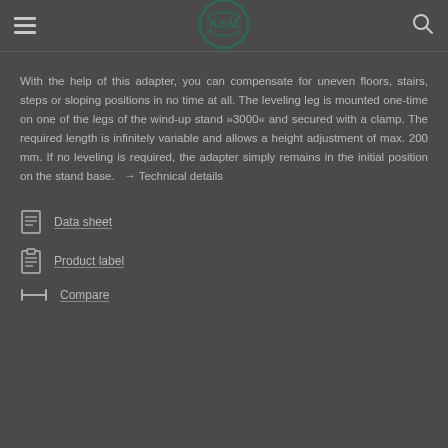K&M logo with hamburger menu and search icon
With the help of this adapter, you can compensate for uneven floors, stairs, steps or sloping positions in no time at all. The leveling leg is mounted one-time on one of the legs of the wind-up stand »3000« and secured with a clamp. The required length is infinitely variable and allows a height adjustment of max. 200 mm. If no leveling is required, the adapter simply remains in the initial position on the stand base. → Technical details
Data sheet
Product label
Compare